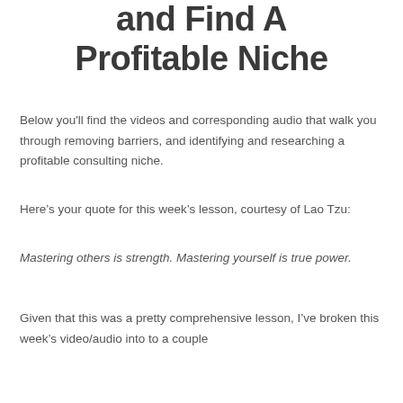and Find A Profitable Niche
Below you'll find the videos and corresponding audio that walk you through removing barriers, and identifying and researching a profitable consulting niche.
Here's your quote for this week's lesson, courtesy of Lao Tzu:
Mastering others is strength. Mastering yourself is true power.
Given that this was a pretty comprehensive lesson, I've broken this week's video/audio into to a couple